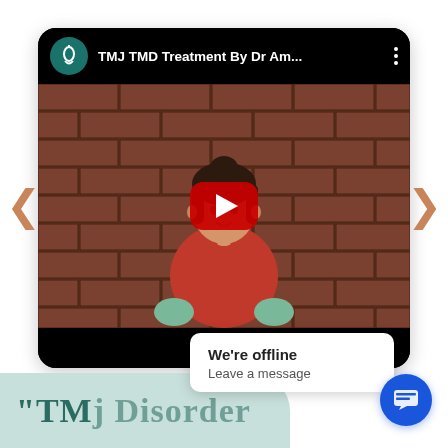[Figure (screenshot): YouTube video thumbnail/player showing a young woman in a red dress seated in front of a brick wall, with a YouTube play button overlay. The video title reads 'TMJ TMD Treatment By Dr Am...' with a channel icon. Navigation arrows appear on either side of the card.]
We're offline
Leave a message
"TM| Disorder